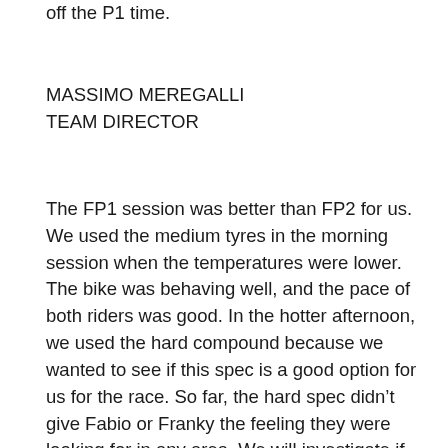off the P1 time.
MASSIMO MEREGALLI
TEAM DIRECTOR
The FP1 session was better than FP2 for us. We used the medium tyres in the morning session when the temperatures were lower. The bike was behaving well, and the pace of both riders was good. In the hotter afternoon, we used the hard compound because we wanted to see if this spec is a good option for us for the race. So far, the hard spec didn't give Fabio or Franky the feeling they were looking for in any area. We will investigate if there is something preventing this tyre from performing well for us, or if it's simply too hard. Though we're not satisfied with our afternoon performance, Fabio is still in the top 10. We will continue to work hard as we hope to make a significant step in FP3. The weather